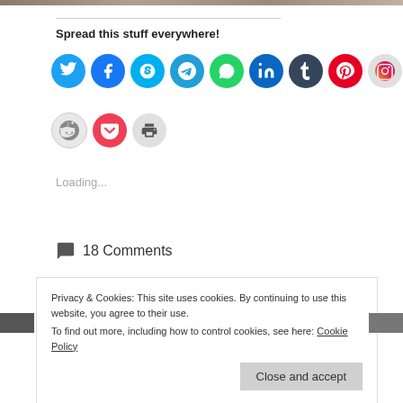[Figure (photo): Partial top image strip of a photo]
Spread this stuff everywhere!
[Figure (infographic): Social media sharing icons: Twitter, Facebook, Skype, Telegram, WhatsApp, LinkedIn, Tumblr, Pinterest, Instagram, Email, Reddit, Pocket, Print]
Loading...
18 Comments
Privacy & Cookies: This site uses cookies. By continuing to use this website, you agree to their use.
To find out more, including how to control cookies, see here: Cookie Policy
Close and accept